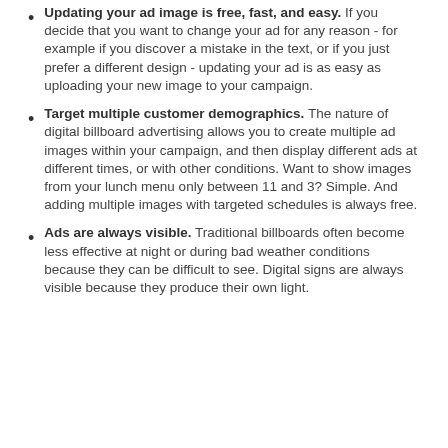Updating your ad image is free, fast, and easy. If you decide that you want to change your ad for any reason - for example if you discover a mistake in the text, or if you just prefer a different design - updating your ad is as easy as uploading your new image to your campaign.
Target multiple customer demographics. The nature of digital billboard advertising allows you to create multiple ad images within your campaign, and then display different ads at different times, or with other conditions. Want to show images from your lunch menu only between 11 and 3? Simple. And adding multiple images with targeted schedules is always free.
Ads are always visible. Traditional billboards often become less effective at night or during bad weather conditions because they can be difficult to see. Digital signs are always visible because they produce their own light.